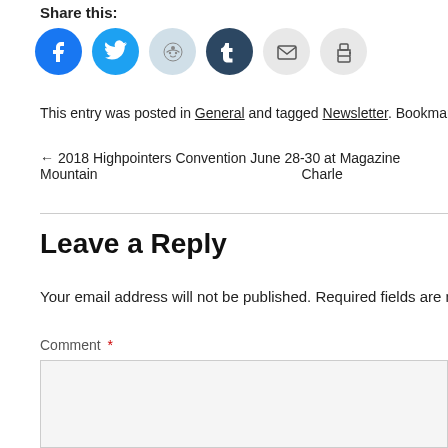Share this:
[Figure (infographic): Row of social sharing icon buttons: Facebook (blue circle), Twitter (light blue circle), Reddit (light blue/grey circle), Tumblr (dark blue circle), Email (light grey circle), Print (light grey circle)]
This entry was posted in General and tagged Newsletter. Bookmark the perm
← 2018 Highpointers Convention June 28-30 at Magazine Mountain    Charle
Leave a Reply
Your email address will not be published. Required fields are m
Comment *